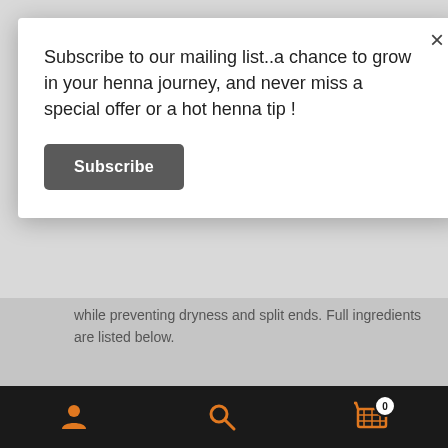Subscribe to our mailing list..a chance to grow in your henna journey, and never miss a special offer or a hot henna tip !
Subscribe
while preventing dryness and split ends. Full ingredients are listed below.
This oil is the perfect size and volume for men's hair and beards
ℹ 10 % off when you sign up to the Newsletter ! Enter your e mail address in the sign up link towards the bottom of this page & remember to click the opt in link in the confirmation e mail (check junk mail).
Dismiss